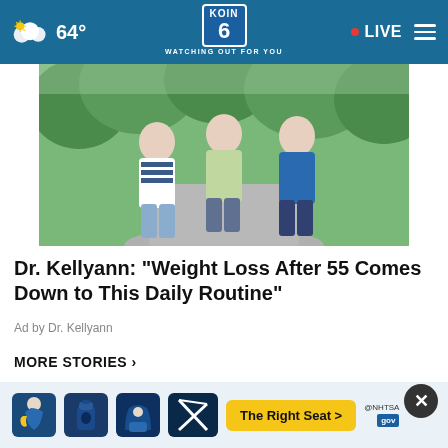64° KOIN 6 WATCHING OUT FOR YOU • LIVE
[Figure (photo): Three women walking/jogging on a tree-lined path outdoors]
Dr. Kellyann: "Weight Loss After 55 Comes Down to This Daily Routine"
Ad by Dr. Kellyann
MORE STORIES ›
Downtown districts across the US are struggling after...
Several states see surge in women...
[Figure (screenshot): NHTSA The Right Seat advertisement banner with child seat safety icons]